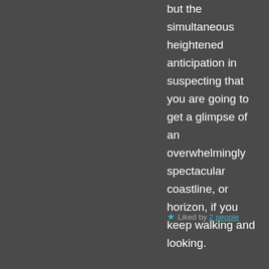but the simultaneous heightened anticipation in suspecting that you are going to get a glimpse of an overwhelmingly spectacular coastline, or horizon, if you keep walking and looking.
Liked by 2 people
[Figure (illustration): Avatar icon for user Gabriela - circular white background with dark magenta letter A logo and small person icon at top left]
GABRIELA says:
January 29, 2018 at 11:11 pm
It's my pleasure! I really like your interpretation. Frustration meets the anticipation of immersing yourself in the beautiful blue skies and waters.